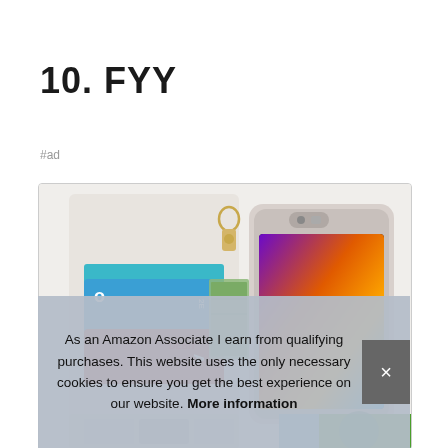10. FYY
#ad
[Figure (photo): Product photo of a white leather wallet phone case open to show card slots with blue and red credit/debit cards, cash, and an iPhone with a colorful wallpaper. The case has a gold zipper pull/keyring at the top.]
As an Amazon Associate I earn from qualifying purchases. This website uses the only necessary cookies to ensure you get the best experience on our website. More information